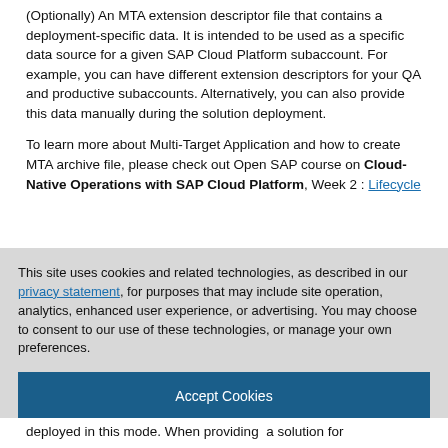(Optionally) An MTA extension descriptor file that contains a deployment-specific data. It is intended to be used as a specific data source for a given SAP Cloud Platform subaccount. For example, you can have different extension descriptors for your QA and productive subaccounts. Alternatively, you can also provide this data manually during the solution deployment.
To learn more about Multi-Target Application and how to create MTA archive file, please check out Open SAP course on Cloud-Native Operations with SAP Cloud Platform, Week 2 : Lifecycle Management Deployment
This site uses cookies and related technologies, as described in our privacy statement, for purposes that may include site operation, analytics, enhanced user experience, or advertising. You may choose to consent to our use of these technologies, or manage your own preferences.
Accept Cookies
More Information
Privacy Policy | Powered by: TrustArc
deployed in this mode. When providing a solution for